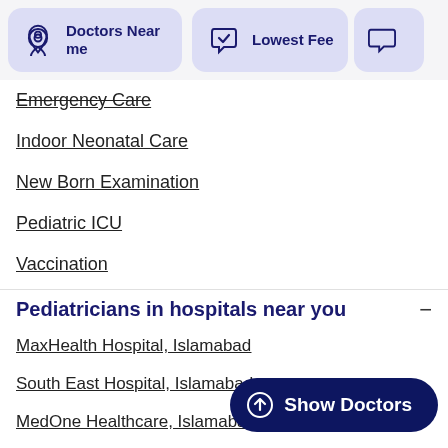[Figure (screenshot): Top navigation bar with 'Doctors Near me', 'Lowest Fee', and a third partially visible tab button with icons]
Emergency Care
Indoor Neonatal Care
New Born Examination
Pediatric ICU
Vaccination
Pediatricians in hospitals near you
MaxHealth Hospital, Islamabad
South East Hospital, Islamabad
MedOne Healthcare, Islamabad
Islamabad Medical and Surgical Hospital, Islamabad